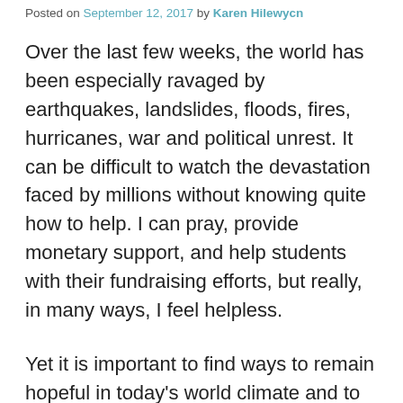Posted on September 12, 2017 by Karen Hilewycn
Over the last few weeks, the world has been especially ravaged by earthquakes, landslides, floods, fires, hurricanes, war and political unrest. It can be difficult to watch the devastation faced by millions without knowing quite how to help. I can pray, provide monetary support, and help students with their fundraising efforts, but really, in many ways, I feel helpless.
Yet it is important to find ways to remain hopeful in today's world climate and to help our students do the same. I take comfort in art.